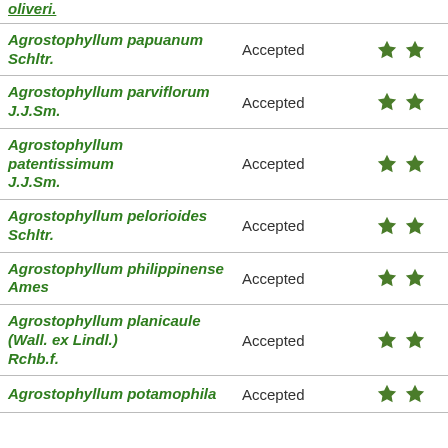| Name | Status | Rating |
| --- | --- | --- |
| Agrostophyllum papuanum Schltr. | Accepted | ★★ |
| Agrostophyllum parviflorum J.J.Sm. | Accepted | ★★ |
| Agrostophyllum patentissimum J.J.Sm. | Accepted | ★★ |
| Agrostophyllum pelorioides Schltr. | Accepted | ★★ |
| Agrostophyllum philippinense Ames | Accepted | ★★ |
| Agrostophyllum planicaule (Wall. ex Lindl.) Rchb.f. | Accepted | ★★ |
| Agrostophyllum potamophila | Accepted | ★★ |